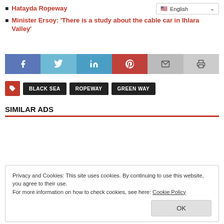Hatayda Ropeway
Minister Ersoy: 'There is a study about the cable car in Ihlara Valley'
[Figure (infographic): Social share bar with icons for Facebook, Twitter, LinkedIn, Pinterest, Email, Print]
[Figure (infographic): Tag buttons: tag icon (red), BLACK SEA, ROPEWAY, GREEN WAY]
SIMILAR ADS
Privacy and Cookies: This site uses cookies. By continuing to use this website, you agree to their use.
For more information on how to check cookies, see here: Cookie Policy
OK